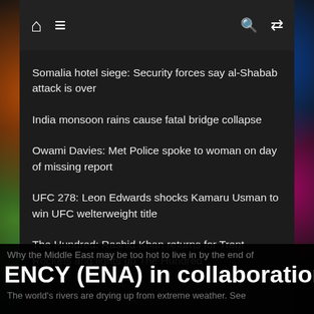Home  Menu  Search  Shuffle
Somalia hotel siege: Security forces say al-Shabab attack is over
India monsoon rains cause fatal bridge collapse
Owami Davies: Met Police spoke to woman on day of missing report
UFC 278: Leon Edwards shocks Kamaru Usman to win UFC welterweight title
The Hundred: Rashid Khan returns for Trent Rockets and lights up The Hundred
CNN News RSS
Why the Middle East may be too hot to live in by the end of
ENCY (ENA) in collaboration wit
The world's rivers are drying up from extreme weather. See